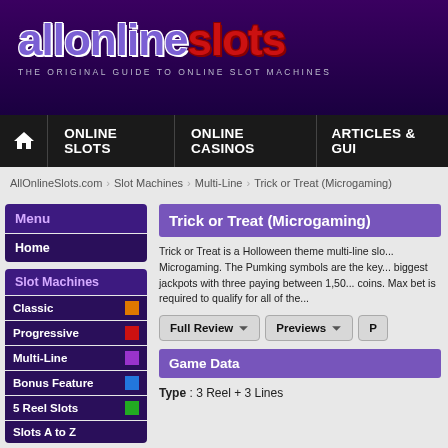[Figure (logo): allonlineslots logo with purple 'allonline' and red 'slots' text on dark purple background, tagline: THE ORIGINAL GUIDE TO ONLINE SLOT MACHINES]
ONLINE SLOTS | ONLINE CASINOS | ARTICLES & GUI
AllOnlineSlots.com > Slot Machines > Multi-Line > Trick or Treat (Microgaming)
Menu
Home
Slot Machines
Classic
Progressive
Multi-Line
Bonus Feature
5 Reel Slots
Slots A to Z
Trick or Treat (Microgaming)
Trick or Treat is a Holloween theme multi-line slo... Microgaming. The Pumking symbols are the key... biggest jackpots with three paying between 1,50... coins. Max bet is required to qualify for all of the...
Full Review | Previews | P
Game Data
Type : 3 Reel + 3 Lines